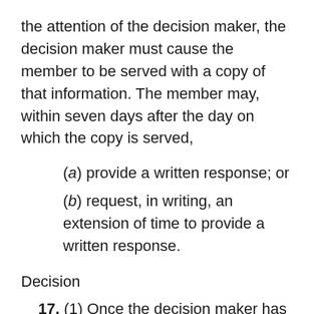the attention of the decision maker, the decision maker must cause the member to be served with a copy of that information. The member may, within seven days after the day on which the copy is served,
(a) provide a written response; or
(b) request, in writing, an extension of time to provide a written response.
Decision
17. (1) Once the decision maker has sufficient information, they must, after